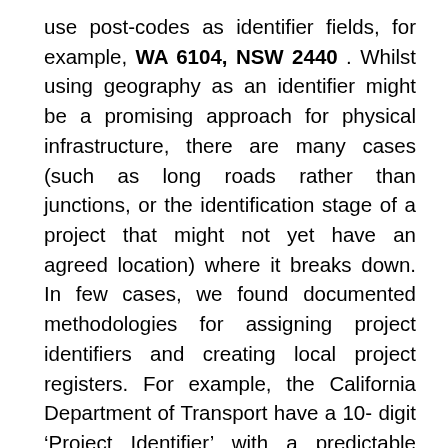use post-codes as identifier fields, for example, WA 6104, NSW 2440 . Whilst using geography as an identifier might be a promising approach for physical infrastructure, there are many cases (such as long roads rather than junctions, or the identification stage of a project that might not yet have an agreed location) where it breaks down. In few cases, we found documented methodologies for assigning project identifiers and creating local project registers. For example, the California Department of Transport have a 10-digit ‘Project Identifier’ with a predictable format:
‘The first two digits of the Project Identifier represent the Charge District, the third and fourth digit represent the year the Project was created in the financial system (EFIS). The fifth